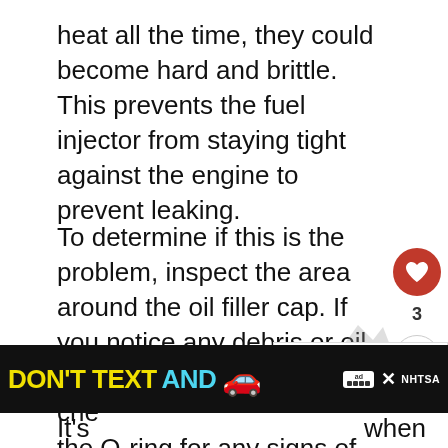heat all the time, they could become hard and brittle. This prevents the fuel injector from staying tight against the engine to prevent leaking.
To determine if this is the problem, inspect the area around the oil filler cap. If you notice any debris or oil residue on the valve cover, check the O-ring for any signs of damage. If it's cracked or brittle, get your mechanic to replace it and other damaged components.
6. Excessive Vibration
[Figure (screenshot): Social media interaction overlay with heart/like button showing red heart icon, count of 3, and share button]
[Figure (screenshot): What's Next widget showing Oil in Coolant article link with thumbnail]
[Figure (screenshot): Advertisement banner: DON'T TEXT AND [car emoji] with NHTSA branding and close button]
It's...when